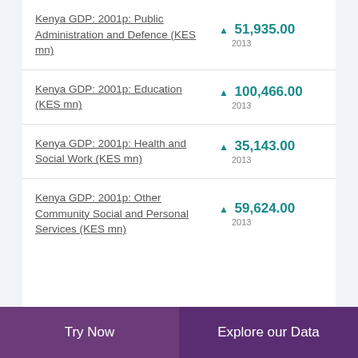Kenya GDP: 2001p: Public Administration and Defence (KES mn)
Kenya GDP: 2001p: Education (KES mn)
Kenya GDP: 2001p: Health and Social Work (KES mn)
Kenya GDP: 2001p: Other Community Social and Personal Services (KES mn)
Try Now | Explore our Data